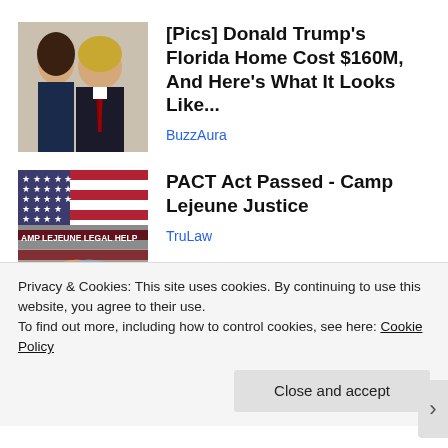[Figure (photo): Photo of Donald Trump and Melania Trump]
[Pics] Donald Trump's Florida Home Cost $160M, And Here's What It Looks Like...
BuzzAura
[Figure (photo): Camp Lejeune Legal Help image with American flag and handshake]
PACT Act Passed - Camp Lejeune Justice
TruLaw
Privacy & Cookies: This site uses cookies. By continuing to use this website, you agree to their use.
To find out more, including how to control cookies, see here: Cookie Policy
Close and accept